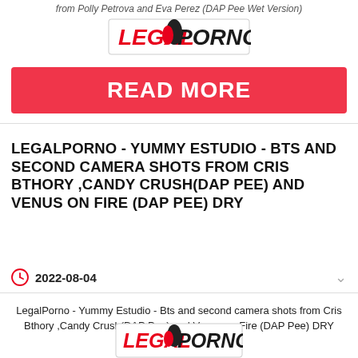from Polly Petrova and Eva Perez (DAP Pee Wet Version)
[Figure (logo): LegalPorno logo (top)]
READ MORE
LEGALPORNO - YUMMY ESTUDIO - BTS AND SECOND CAMERA SHOTS FROM CRIS BTHORY ,CANDY CRUSH(DAP PEE) AND VENUS ON FIRE (DAP PEE) DRY
2022-08-04
LegalPorno - Yummy Estudio - Bts and second camera shots from Cris Bthory ,Candy Crush(DAP Pee) and Venus on Fire (DAP Pee) DRY
[Figure (logo): LegalPorno logo (bottom)]